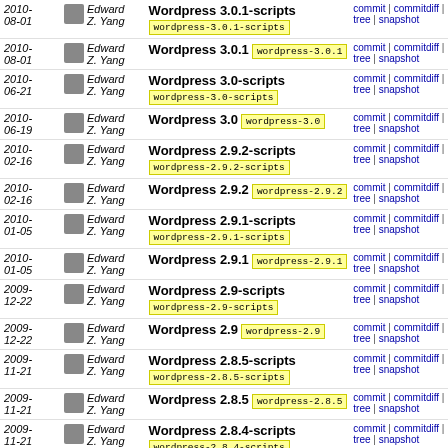| Date | Author | Commit | Links |
| --- | --- | --- | --- |
| 2010-08-01 | Edward Z. Yang | Wordpress 3.0.1-scripts wordpress-3.0.1-scripts | commit | commitdiff | tree | snapshot |
| 2010-08-01 | Edward Z. Yang | Wordpress 3.0.1 wordpress-3.0.1 | commit | commitdiff | tree | snapshot |
| 2010-06-21 | Edward Z. Yang | Wordpress 3.0-scripts wordpress-3.0-scripts | commit | commitdiff | tree | snapshot |
| 2010-06-19 | Edward Z. Yang | Wordpress 3.0 wordpress-3.0 | commit | commitdiff | tree | snapshot |
| 2010-02-16 | Edward Z. Yang | Wordpress 2.9.2-scripts wordpress-2.9.2-scripts | commit | commitdiff | tree | snapshot |
| 2010-02-16 | Edward Z. Yang | Wordpress 2.9.2 wordpress-2.9.2 | commit | commitdiff | tree | snapshot |
| 2010-01-05 | Edward Z. Yang | Wordpress 2.9.1-scripts wordpress-2.9.1-scripts | commit | commitdiff | tree | snapshot |
| 2010-01-05 | Edward Z. Yang | Wordpress 2.9.1 wordpress-2.9.1 | commit | commitdiff | tree | snapshot |
| 2009-12-22 | Edward Z. Yang | Wordpress 2.9-scripts wordpress-2.9-scripts | commit | commitdiff | tree | snapshot |
| 2009-12-22 | Edward Z. Yang | Wordpress 2.9 wordpress-2.9 | commit | commitdiff | tree | snapshot |
| 2009-11-21 | Edward Z. Yang | Wordpress 2.8.5-scripts wordpress-2.8.5-scripts | commit | commitdiff | tree | snapshot |
| 2009-11-21 | Edward Z. Yang | Wordpress 2.8.5 wordpress-2.8.5 | commit | commitdiff | tree | snapshot |
| 2009-11-21 | Edward Z. Yang | Wordpress 2.8.4-scripts wordpress-2.8.4-scripts | commit | commitdiff | tree | snapshot |